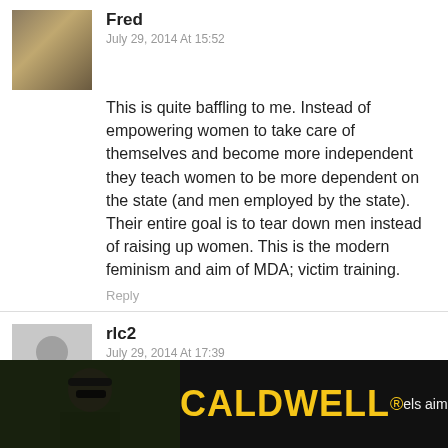[Figure (photo): Avatar photo of user Fred - person wearing hat outdoors]
Fred
July 29, 2014 At 15:52
This is quite baffling to me. Instead of empowering women to take care of themselves and become more independent they teach women to be more dependent on the state (and men employed by the state). Their entire goal is to tear down men instead of raising up women. This is the modern feminism and aim of MDA; victim training.
Reply
[Figure (illustration): Default avatar placeholder for user rlc2 - grey silhouette]
rlc2
July 29, 2014 At 17:39
Never mind all the kids who will be tramautized watching this on the predictable
[Figure (photo): Caldwell advertisement banner - person with tactical gear and headphones, CALDWELL brand name in yellow]
els aimed at